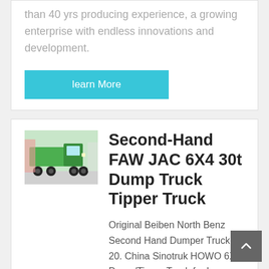than 40 yrs producing experience, a growing enterprise with endless innovations and development.
learn More
[Figure (photo): Green FAW JAC dump truck tipper truck displayed in a showroom]
Second-Hand FAW JAC 6X4 30t Dump Truck Tipper Truck
Original Beiben North Benz Second Hand Dumper Truck 20. China Sinotruk HOWO 6X4 Dump/Tipper Truck for Low Price . Heavy Duty Second Hand Used 371HP HOWO